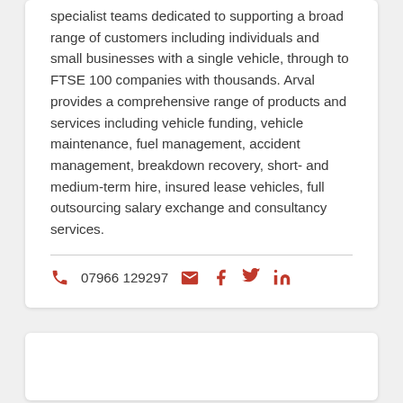specialist teams dedicated to supporting a broad range of customers including individuals and small businesses with a single vehicle, through to FTSE 100 companies with thousands. Arval provides a comprehensive range of products and services including vehicle funding, vehicle maintenance, fuel management, accident management, breakdown recovery, short- and medium-term hire, insured lease vehicles, full outsourcing salary exchange and consultancy services.
07966 129297